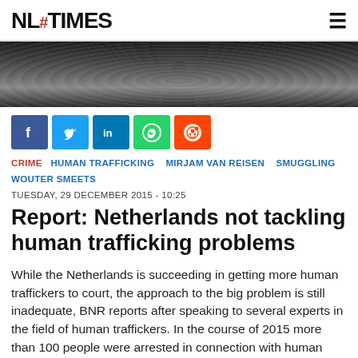NL# TIMES
[Figure (photo): Close-up black and white photo of chain-link or hexagonal metal mesh/netting]
[Figure (infographic): Social media share buttons: Facebook, Twitter, LinkedIn, WhatsApp, Reddit]
CRIME  HUMAN TRAFFICKING  MIRJAM VAN REISEN  SMUGGLING  WOUTER SMEETS
TUESDAY, 29 DECEMBER 2015 - 10:25
Report: Netherlands not tackling human trafficking problems
While the Netherlands is succeeding in getting more human traffickers to court, the approach to the big problem is still inadequate, BNR reports after speaking to several experts in the field of human traffickers. In the course of 2015 more than 100 people were arrested in connection with human trafficking and 52 were tried. That is about twice as many